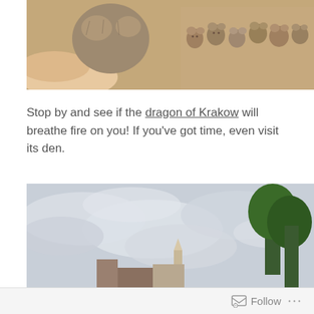[Figure (photo): Close-up photo of a small fuzzy toy or plush animal being held in a hand, with a background of many small teddy bear souvenirs on a shelf]
Stop by and see if the dragon of Krakow will breathe fire on you! If you've got time, even visit its den.
[Figure (photo): Outdoor photo looking up at a cloudy grey sky with green trees on the right side and rooftops visible at the bottom]
Follow ...